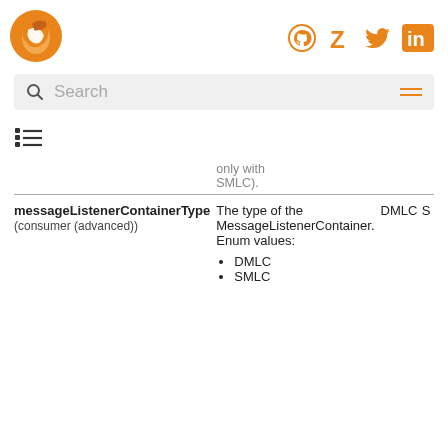[Figure (logo): Orange bird/fox logo]
[Figure (logo): Social icons: GitHub, Z, Twitter, LinkedIn in orange]
Search
| Property | Description | Default | Type |
| --- | --- | --- | --- |
|  | only with SMLC). |  |  |
| messageListenerContainerType (consumer (advanced)) | The type of the MessageListenerContainer. Enum values:
• DMLC
• SMLC | DMLC | S |